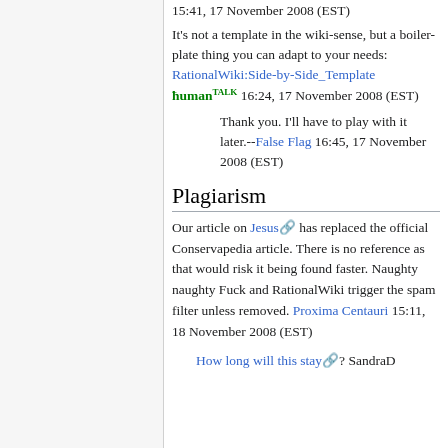15:41, 17 November 2008 (EST)
It's not a template in the wiki-sense, but a boiler-plate thing you can adapt to your needs: RationalWiki:Side-by-Side_Template ħuman TALK 16:24, 17 November 2008 (EST)
Thank you. I'll have to play with it later.--False Flag 16:45, 17 November 2008 (EST)
Plagiarism
Our article on Jesus has replaced the official Conservapedia article. There is no reference as that would risk it being found faster. Naughty naughty Fuck and RationalWiki trigger the spam filter unless removed. Proxima Centauri 15:11, 18 November 2008 (EST)
How long will this stay? SandraD